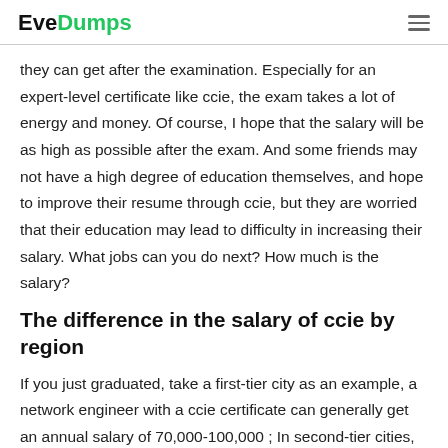EveDumps
they can get after the examination. Especially for an expert-level certificate like ccie, the exam takes a lot of energy and money. Of course, I hope that the salary will be as high as possible after the exam. And some friends may not have a high degree of education themselves, and hope to improve their resume through ccie, but they are worried that their education may lead to difficulty in increasing their salary. What jobs can you do next? How much is the salary?
The difference in the salary of ccie by region
If you just graduated, take a first-tier city as an example, a network engineer with a ccie certificate can generally get an annual salary of 70,000-100,000 ; In second-tier cities, you